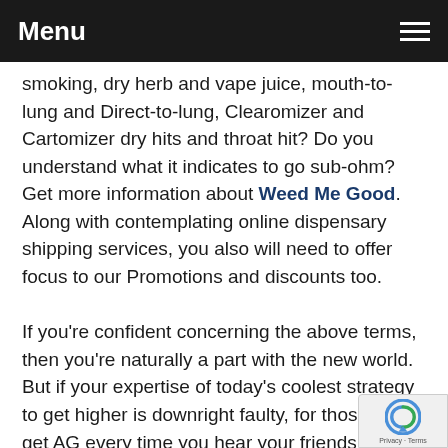Menu
smoking, dry herb and vape juice, mouth-to-lung and Direct-to-lung, Clearomizer and Cartomizer dry hits and throat hit? Do you understand what it indicates to go sub-ohm? Get more information about Weed Me Good. Along with contemplating online dispensary shipping services, you also will need to offer focus to our Promotions and discounts too.
If you're confident concerning the above terms, then you're naturally a part with the new world. But if your expertise of today's coolest strategy to get higher is downright faulty, for those who get AG every time you hear your friends wilding the newest toking-up, li...